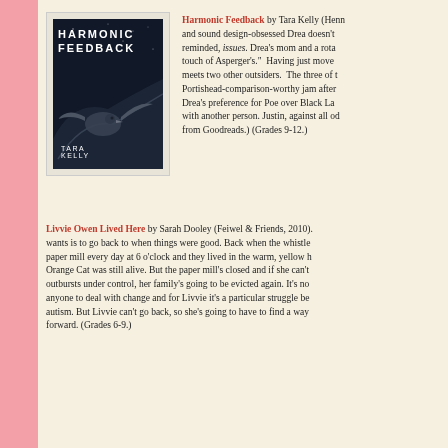[Figure (photo): Book cover of 'Harmonic Feedback' by Tara Kelly — dark background with a bird, white text title and author name]
Harmonic Feedback by Tara Kelly (Henn... and sound design-obsessed Drea doesn't reminded, issues. Drea's mom and a rota touch of Asperger's." Having just moved meets two other outsiders. The three of t Portishead-comparison-worthy jam after Drea's preference for Poe over Black La with another person. Justin, against all od from Goodreads.) (Grades 9-12.)
Livvie Owen Lived Here by Sarah Dooley (Feiwel & Friends, 2010). wants is to go back to when things were good. Back when the whistle paper mill every day at 6 o'clock and they lived in the warm, yellow h Orange Cat was still alive. But the paper mill's closed and if she can't outbursts under control, her family's going to be evicted again. It's no anyone to deal with change and for Livvie it's a particular struggle be autism. But Livvie can't go back, so she's going to have to find a way forward. (Grades 6-9.)